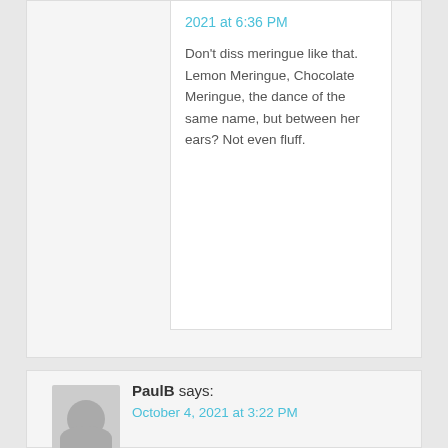2021 at 6:36 PM
Don't diss meringue like that. Lemon Meringue, Chocolate Meringue, the dance of the same name, but between her ears? Not even fluff.
PaulB says:
October 4, 2021 at 3:22 PM